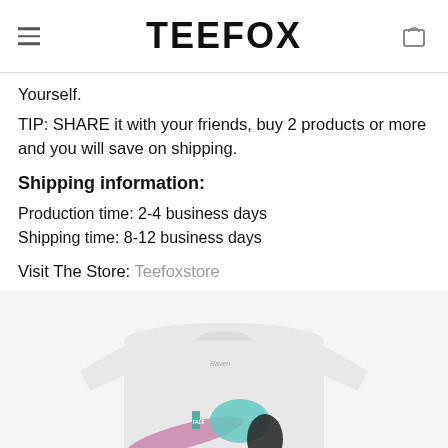TEEFOX
Yourself.
TIP: SHARE it with your friends, buy 2 products or more and you will save on shipping.
Shipping information:
Production time: 2-4 business days
Shipping time: 8-12 business days
Visit The Store: Teefoxstore
[Figure (photo): A light gray t-shirt product photo showing the front of the shirt with a graphic design partially visible at the bottom.]